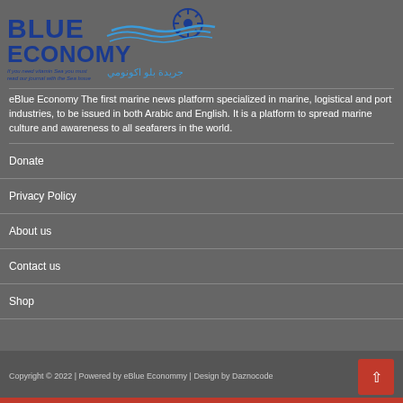[Figure (logo): Blue Economy logo with Arabic text - shows 'BLUE ECONOMY' in large blue text with wave and ship wheel graphic, subtitle text in English and Arabic]
eBlue Economy The first marine news platform specialized in marine, logistical and port industries, to be issued in both Arabic and English. It is a platform to spread marine culture and awareness to all seafarers in the world.
Donate
Privacy Policy
About us
Contact us
Shop
Copyright © 2022 | Powered by eBlue Econommy | Design by Daznocode